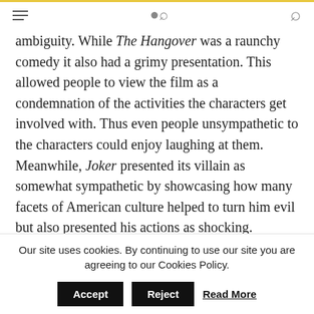[hamburger menu] [search icon]
ambiguity. While The Hangover was a raunchy comedy it also had a grimy presentation. This allowed people to view the film as a condemnation of the activities the characters get involved with. Thus even people unsympathetic to the characters could enjoy laughing at them. Meanwhile, Joker presented its villain as somewhat sympathetic by showcasing how many facets of American culture helped to turn him evil but also presented his actions as shocking. Meaning the film functioned as
Our site uses cookies. By continuing to use our site you are agreeing to our Cookies Policy. Accept Reject Read More